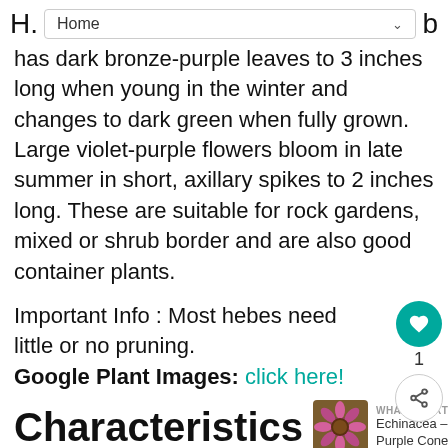H. Home b
has dark bronze-purple leaves to 3 inches long when young in the winter and changes to dark green when fully grown. Large violet-purple flowers bloom in late summer in short, axillary spikes to 2 inches long. These are suitable for rock gardens, mixed or shrub border and are also good container plants.
Important Info : Most hebes need little or no pruning.
Google Plant Images: click here!
Characteristics
[Figure (photo): Echinacea Purple Cone flower photo thumbnail for 'What's Next' navigation widget]
Cultivar: Purple Queen